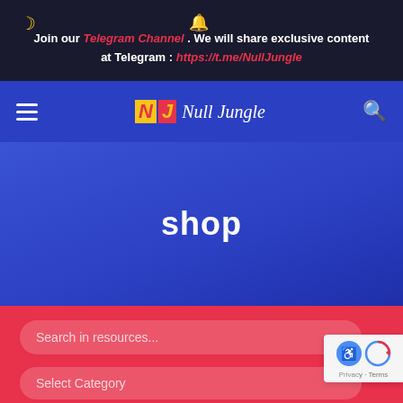Join our Telegram Channel . We will share exclusive content at Telegram : https://t.me/NullJungle
[Figure (logo): NJ Null Jungle logo with yellow N block and red J block, followed by cursive 'Null Jungle' text in white]
shop
Search in resources...
Select Category